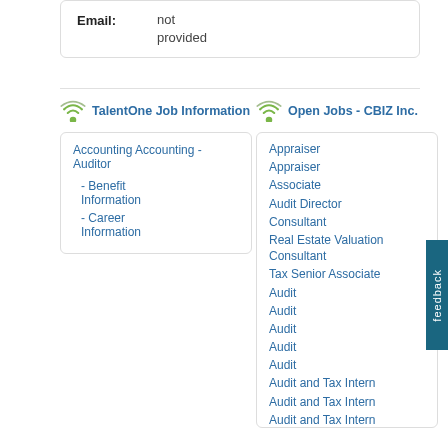| Email: |  |
| --- | --- |
| Email: | not provided |
TalentOne Job Information
Open Jobs - CBIZ Inc.
Accounting Accounting - Auditor
- Benefit Information
- Career Information
Appraiser
Appraiser
Associate
Audit Director
Consultant
Real Estate Valuation Consultant
Tax Senior Associate
Audit
Audit
Audit
Audit
Audit
Audit and Tax Intern
Audit and Tax Intern
Audit and Tax Intern
Audit Associate
Audit Associate
Audit Associate